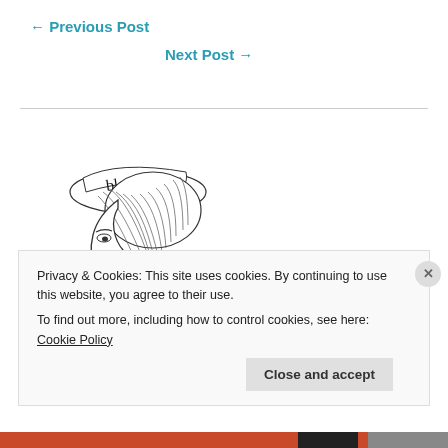← Previous Post
Next Post →
[Figure (illustration): Line drawing illustration of a stylish woman in profile wearing a hat with 'bloglovin' written on it, with her hair up in a bun]
Privacy & Cookies: This site uses cookies. By continuing to use this website, you agree to their use.
To find out more, including how to control cookies, see here: Cookie Policy
Close and accept